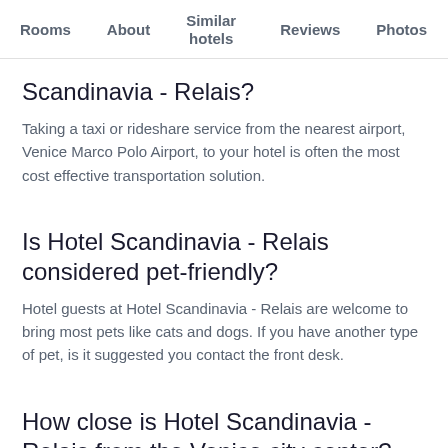Rooms   About   Similar hotels   Reviews   Photos   Loca…
Scandinavia - Relais?
Taking a taxi or rideshare service from the nearest airport, Venice Marco Polo Airport, to your hotel is often the most cost effective transportation solution.
Is Hotel Scandinavia - Relais considered pet-friendly?
Hotel guests at Hotel Scandinavia - Relais are welcome to bring most pets like cats and dogs. If you have another type of pet, is it suggested you contact the front desk.
How close is Hotel Scandinavia - Relais from the Venice city center?
The center of San Marco, Venice, is just 0.4 mi away from the front…